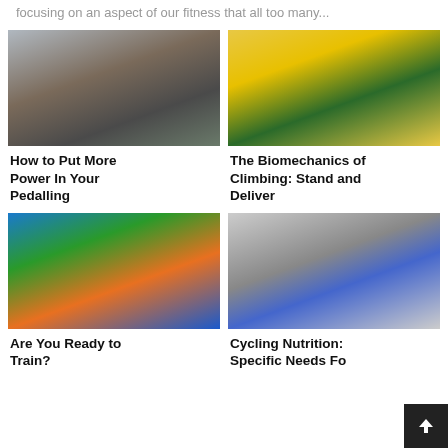focusing on an aspect of our fitness that all too many...
[Figure (photo): Cyclist in white and red kit riding uphill through a crowd of spectators]
How to Put More Power In Your Pedalling
[Figure (photo): Two cyclists in yellow jerseys climbing, side by side]
The Biomechanics of Climbing: Stand and Deliver
[Figure (photo): Cyclists riding under orange trees on a sunny day]
Are You Ready to Train?
[Figure (photo): Group of cyclists posing together with bikes in front of Eiffel Tower]
Cycling Nutrition: Specific Needs Fo